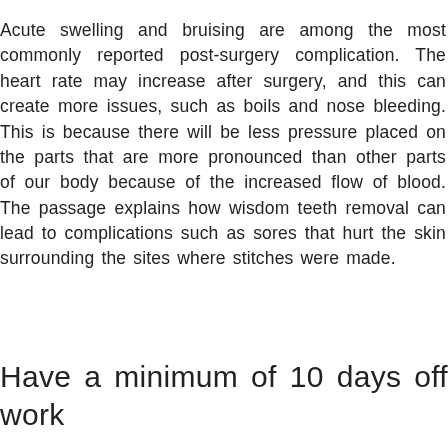Acute swelling and bruising are among the most commonly reported post-surgery complication. The heart rate may increase after surgery, and this can create more issues, such as boils and nose bleeding. This is because there will be less pressure placed on the parts that are more pronounced than other parts of our body because of the increased flow of blood. The passage explains how wisdom teeth removal can lead to complications such as sores that hurt the skin surrounding the sites where stitches were made.
Have a minimum of 10 days off work